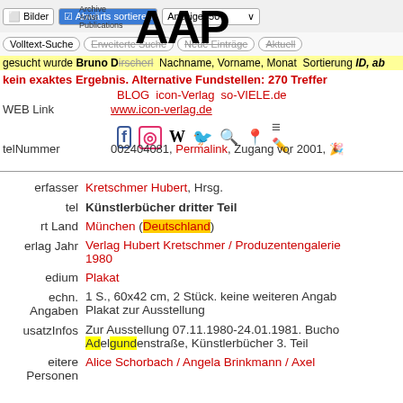Bilder | Abwärts sortieren | Anzeige 50
[Figure (logo): AAP Archive Artist Publications logo with large bold letters AAP and small text 'Archive Artist Publications']
Volltext-Suche | Erweiterte Suche | Neue Einträge | Aktuell
gesucht wurde Bruno D... Nachname, Vorname, Monat Sortierung ID, ab
kein exaktes Ergebnis. Alternative Fundstellen: 270 Treffer
BLOG icon-Verlag so-VIELE.de
WEB Link www.icon-verlag.de
telNummer 002404081, Permalink, Zugang vor 2001,
| Feld | Wert |
| --- | --- |
| erfasser | Kretschmer Hubert, Hrsg. |
| tel | Künstlerbücher dritter Teil |
| rt Land | München (Deutschland) |
| erlag Jahr | Verlag Hubert Kretschmer / Produzentengalerie 1980 |
| edium | Plakat |
| echn. Angaben | 1 S., 60x42 cm, 2 Stück. keine weiteren Angaben. Plakat zur Ausstellung |
| usatzInfos | Zur Ausstellung 07.11.1980-24.01.1981. Buchdo Adelgundenstraße, Künstlerbücher 3. Teil |
| eitere Personen | Alice Schorbach / Angela Brinkmann / Axel ... |